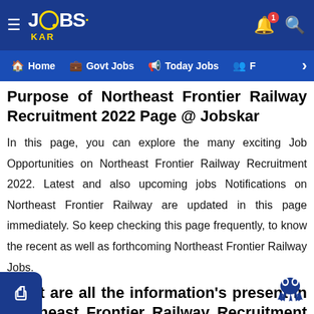JOBS KAR — Home | Govt Jobs | Today Jobs | F
Purpose of Northeast Frontier Railway Recruitment 2022 Page @ Jobskar
In this page, you can explore the many exciting Job Opportunities on Northeast Frontier Railway Recruitment 2022. Latest and also upcoming jobs Notifications on Northeast Frontier Railway are updated in this page immediately. So keep checking this page frequently, to know the recent as well as forthcoming Northeast Frontier Railway Jobs.
What are all the information's present in Northeast Frontier Railway Recruitment 2022